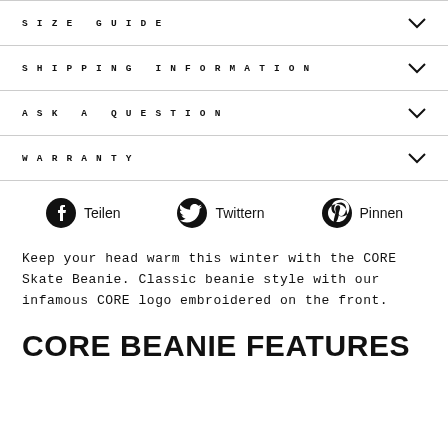SIZE GUIDE
SHIPPING INFORMATION
ASK A QUESTION
WARRANTY
[Figure (infographic): Social share buttons: Teilen (Facebook), Twittern (Twitter), Pinnen (Pinterest)]
Keep your head warm this winter with the CORE Skate Beanie. Classic beanie style with our infamous CORE logo embroidered on the front.
CORE BEANIE FEATURES